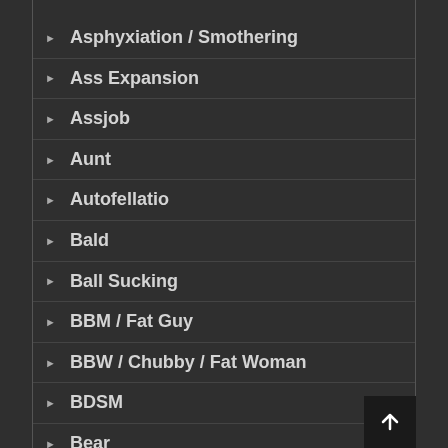Asphyxiation / Smothering
Ass Expansion
Assjob
Aunt
Autofellatio
Bald
Ball Sucking
BBM / Fat Guy
BBW / Chubby / Fat Woman
BDSM
Bear
Bear Boy
Bear Girl